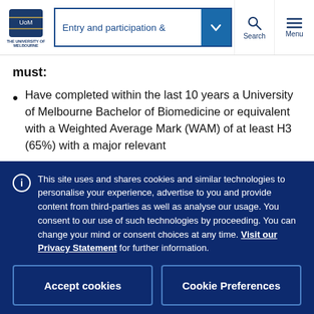Entry and participation | [University of Melbourne navigation]
must:
Have completed within the last 10 years a University of Melbourne Bachelor of Biomedicine or equivalent with a Weighted Average Mark (WAM) of at least H3 (65%) with a major relevant
This site uses and shares cookies and similar technologies to personalise your experience, advertise to you and provide content from third-parties as well as analyse our usage. You consent to our use of such technologies by proceeding. You can change your mind or consent choices at any time. Visit our Privacy Statement for further information.
Accept cookies
Cookie Preferences